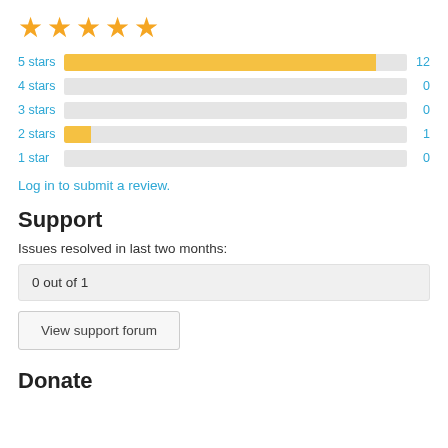[Figure (other): Five gold star rating icons]
[Figure (bar-chart): Star ratings breakdown]
Log in to submit a review.
Support
Issues resolved in last two months:
0 out of 1
View support forum
Donate